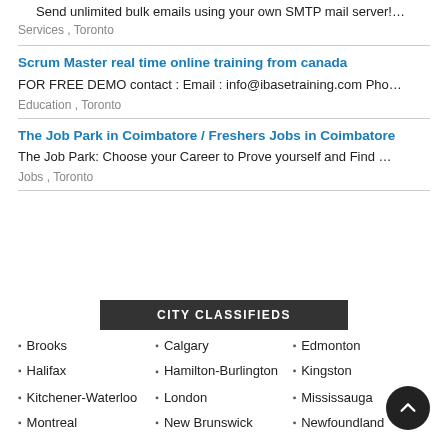Send unlimited bulk emails using your own SMTP mail server!...
Services , Toronto
Scrum Master real time online training from canada
FOR FREE DEMO contact : Email : info@ibasetraining.com Pho...
Education , Toronto
The Job Park in Coimbatore / Freshers Jobs in Coimbatore
The Job Park: Choose your Career to Prove yourself and Find ...
Jobs , Toronto
CITY CLASSIFIEDS
Brooks
Calgary
Edmonton
Halifax
Hamilton-Burlington
Kingston
Kitchener-Waterloo
London
Mississauga
Montreal
New Brunswick
Newfoundland